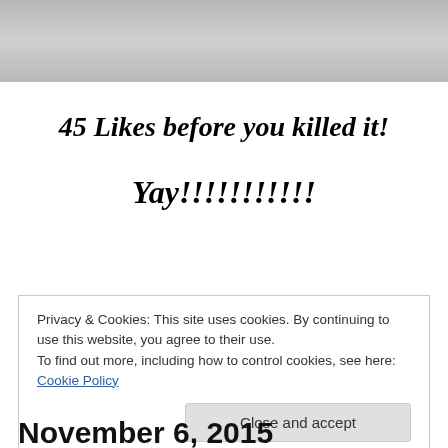[Figure (photo): Grayscale photo strip at the top of the page, showing a light grey textured surface]
45 Likes before you killed it!
Yay!!!!!!!!!!!
Privacy & Cookies: This site uses cookies. By continuing to use this website, you agree to their use.
To find out more, including how to control cookies, see here: Cookie Policy
Close and accept
November 6, 2015